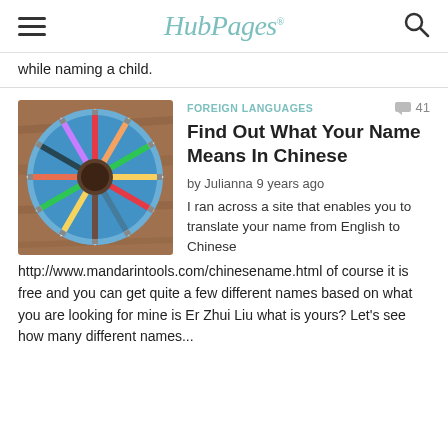HubPages
while naming a child.
[Figure (photo): Overhead view of colorful pencils arranged in a circle on a blue plate on a wooden surface]
FOREIGN LANGUAGES
Find Out What Your Name Means In Chinese
by Julianna 9 years ago
I ran across a site that enables you to translate your name from English to Chinese http://www.mandarintools.com/chinesename.html of course it is free and you can get quite a few different names based on what you are looking for mine is Er Zhui Liu what is yours? Let's see how many different names...